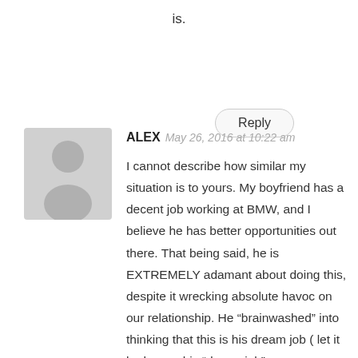is.
Reply
ALEX   May 26, 2016 at 10:22 am
[Figure (illustration): Default user avatar placeholder image — grey silhouette of a person on a light grey background]
I cannot describe how similar my situation is to yours. My boyfriend has a decent job working at BMW, and I believe he has better opportunities out there. That being said, he is EXTREMELY adamant about doing this, despite it wrecking absolute havoc on our relationship. He “brainwashed” into thinking that this is his dream job ( let it be known his “dream job”